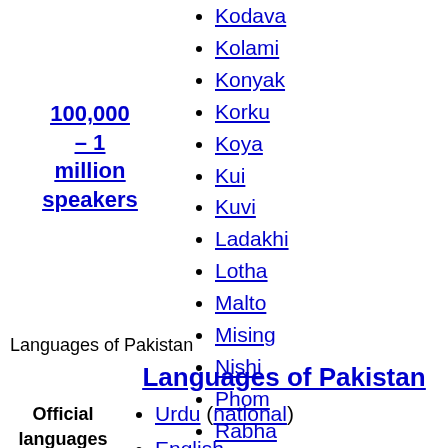100,000 – 1 million speakers
Kodava
Kolami
Konyak
Korku
Koya
Kui
Kuvi
Ladakhi
Lotha
Malto
Mising
Nishi
Phom
Rabha
Sema
Sora
Tangkhul
Thadou
Languages of Pakistan
Languages of Pakistan
Official languages
Urdu (national)
English
Dogri